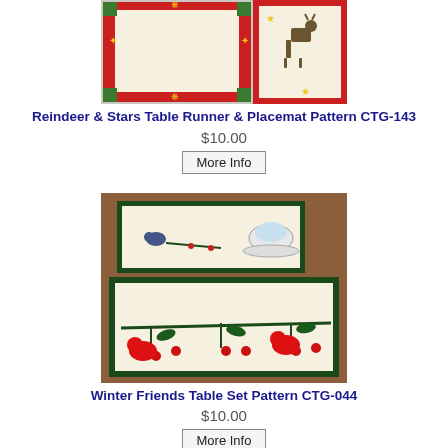[Figure (photo): Photo of Reindeer & Stars Table Runner & Placemat showing red/green/cream quilted fabric with reindeer and stars motif]
Reindeer & Stars Table Runner & Placemat Pattern CTG-143
$10.00
More Info
[Figure (photo): Photo of Winter Friends Table Set showing cream quilted placemats with red cardinal birds, green branches, red berries, and a teacup, on a wooden table]
Winter Friends Table Set Pattern CTG-044
$10.00
More Info
[Figure (photo): Partial photo of another quilt product at the bottom of the page]